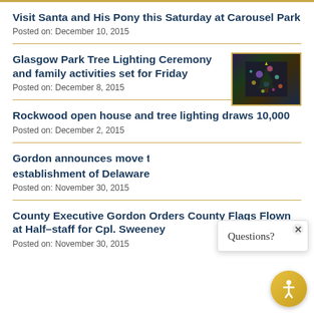Visit Santa and His Pony this Saturday at Carousel Park
Posted on: December 10, 2015
Glasgow Park Tree Lighting Ceremony and family activities set for Friday
Posted on: December 8, 2015
[Figure (photo): Thumbnail photo of tree lighting ceremony with colorful lights]
Rockwood open house and tree lighting draws 10,000
Posted on: December 2, 2015
Gordon announces move to support establishment of Delaware Board of
Posted on: November 30, 2015
County Executive Gordon Orders County Flags Flown at Half-staff for Cpl. Sweeney
Posted on: November 30, 2015